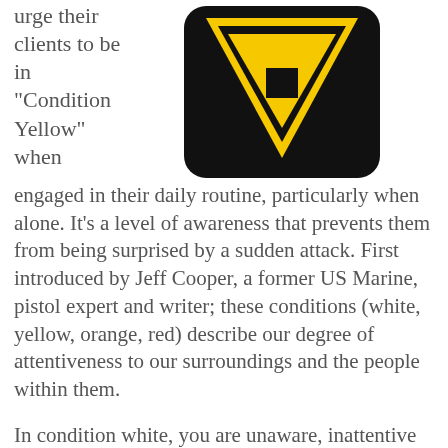urge their clients to be in "Condition Yellow" when engaged in their daily routine, particularly when alone. It's a level of awareness that prevents them from being surprised by a sudden attack. First introduced by Jeff Cooper, a former US Marine, pistol expert and writer; these conditions (white, yellow, orange, red) describe our degree of attentiveness to our surroundings and the people within them.
[Figure (illustration): Yellow warning/caution triangle sign with inverted triangle shape and a small black square in the center, with a thick black border on a rounded rectangular background.]
In condition white, you are unaware, inattentive or downright oblivious. You are shocked when something happens, "I did not see that coming." Cooper and other protective experts talk about remaining in Condition Yellow to prevent an attack in the first place, to seem less vulnerable to a potential predator. Leave Condition White for poolside in the Caribbean.